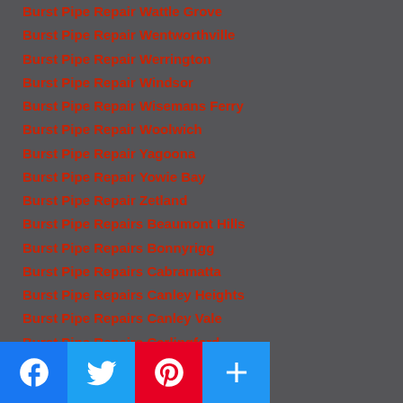Burst Pipe Repair Wattle Grove
Burst Pipe Repair Wentworthville
Burst Pipe Repair Werrington
Burst Pipe Repair Windsor
Burst Pipe Repair Wisemans Ferry
Burst Pipe Repair Woolwich
Burst Pipe Repair Yagoona
Burst Pipe Repair Yowie Bay
Burst Pipe Repair Zetland
Burst Pipe Repairs Beaumont Hills
Burst Pipe Repairs Bonnyrigg
Burst Pipe Repairs Cabramatta
Burst Pipe Repairs Canley Heights
Burst Pipe Repairs Canley Vale
Burst Pipe Repairs Carlingford
Burst Pipe Repairs Dural
Burst Pipe Repairs Edensor Park
Burst Pipe Repairs Emu Plains
Burst Pipe Repairs [Kenilworthy]